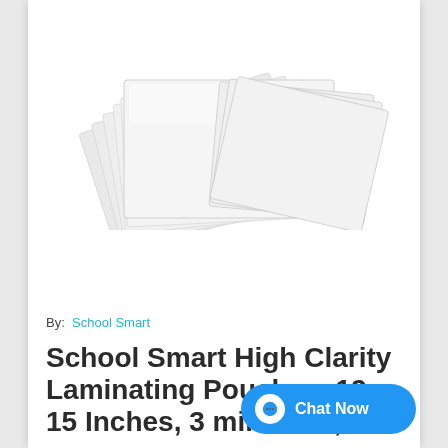[Figure (photo): Stack of clear laminating pouches fanned out on a white background]
By:  School Smart
School Smart High Clarity Laminating Pouches, 12 x 15 Inches, 3 mil Thick, 100